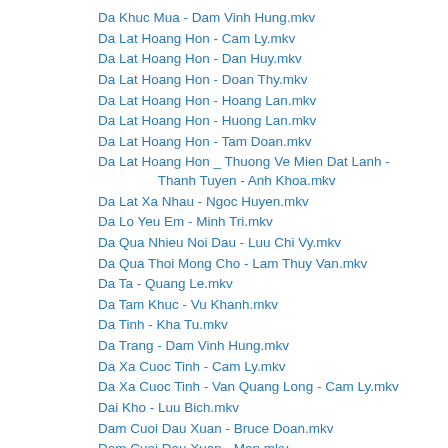Da Khuc Mua - Dam Vinh Hung.mkv
Da Lat Hoang Hon - Cam Ly.mkv
Da Lat Hoang Hon - Dan Huy.mkv
Da Lat Hoang Hon - Doan Thy.mkv
Da Lat Hoang Hon - Hoang Lan.mkv
Da Lat Hoang Hon - Huong Lan.mkv
Da Lat Hoang Hon - Tam Doan.mkv
Da Lat Hoang Hon _ Thuong Ve Mien Dat Lanh - Thanh Tuyen - Anh Khoa.mkv
Da Lat Xa Nhau - Ngoc Huyen.mkv
Da Lo Yeu Em - Minh Tri.mkv
Da Qua Nhieu Noi Dau - Luu Chi Vy.mkv
Da Qua Thoi Mong Cho - Lam Thuy Van.mkv
Da Ta - Quang Le.mkv
Da Tam Khuc - Vu Khanh.mkv
Da Tinh - Kha Tu.mkv
Da Trang - Dam Vinh Hung.mkv
Da Xa Cuoc Tinh - Cam Ly.mkv
Da Xa Cuoc Tinh - Van Quang Long - Cam Ly.mkv
Dai Kho - Luu Bich.mkv
Dam Cuoi Dau Xuan - Bruce Doan.mkv
Dam Cuoi Dau Xuan - Man.mkv
Dam Cuoi Dau Xuan - Thai Chau - Yen Khoa.mkv